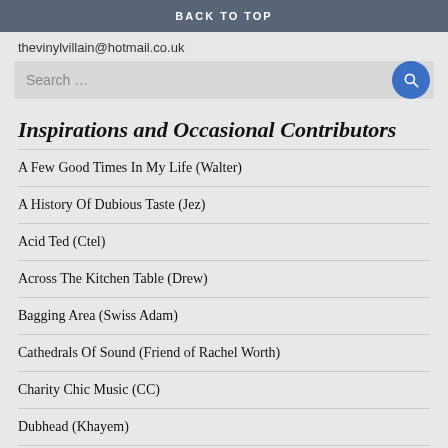BACK TO TOP
thevinylvillain@hotmail.co.uk
Inspirations and Occasional Contributors
A Few Good Times In My Life (Walter)
A History Of Dubious Taste (Jez)
Acid Ted (Ctel)
Across The Kitchen Table (Drew)
Bagging Area (Swiss Adam)
Cathedrals Of Sound (Friend of Rachel Worth)
Charity Chic Music (CC)
Dubhead (Khayem)
Is This The Life? (The Robster)